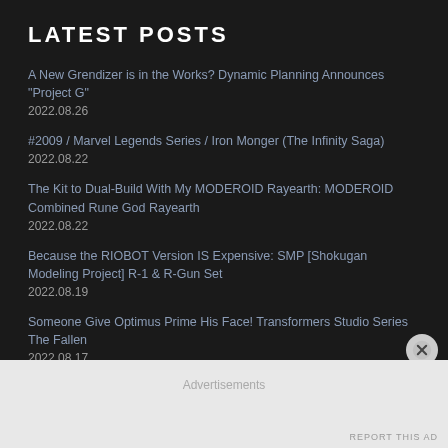LATEST POSTS
A New Grendizer is in the Works? Dynamic Planning Announces “Project G”
2022.08.26
#2009 / Marvel Legends Series / Iron Monger (The Infinity Saga)
2022.08.22
The Kit to Dual-Build With My MODEROID Rayearth: MODEROID Combined Rune God Rayearth
2022.08.22
Because the RIOBOT Version IS Expensive: SMP [Shokugan Modeling Project] R-1 & R-Gun Set
2022.08.19
Someone Give Optimus Prime His Face! Transformers Studio Series The Fallen
2022.08.17
Advertisements
REPORT THIS AD